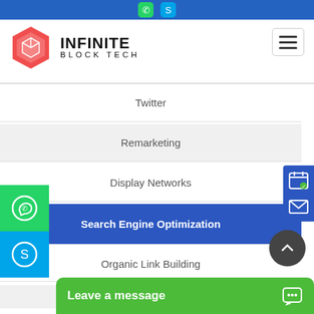Top navigation bar with social icons
[Figure (logo): Infinite Block Tech logo - red hexagon with cube icon and company name text]
Twitter
Remarketing
Display Networks
Search Engine Optimization
Organic Link Building
Content Optimization
On...
Leave a message